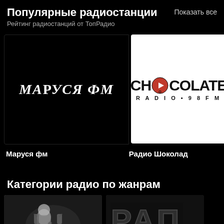Популярные радиостанции
Рейтинг радиостанций от ТопРадио
Показать все
[Figure (logo): Маруся ФМ logo on black background]
[Figure (logo): Chocolate RADIO 98FM logo on white background]
Маруся фм
Радио Шоколад
Категории радио по жанрам
[Figure (photo): Person with headphones, pop music category]
[Figure (photo): RAP text graphic, rap music category]